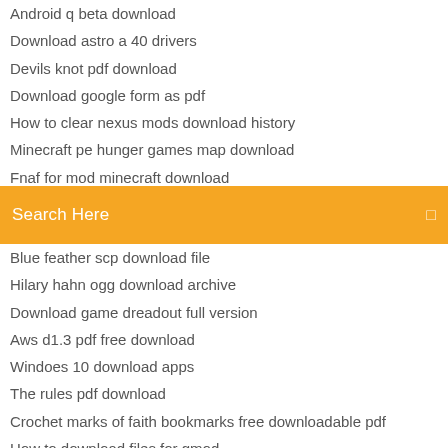Android q beta download
Download astro a 40 drivers
Devils knot pdf download
Download google form as pdf
How to clear nexus mods download history
Minecraft pe hunger games map download
Fnaf for mod minecraft download
[Figure (screenshot): Orange search bar with text 'Search Here' and a small icon on the right]
Blue feather scp download file
Hilary hahn ogg download archive
Download game dreadout full version
Aws d1.3 pdf free download
Windoes 10 download apps
The rules pdf download
Crochet marks of faith bookmarks free downloadable pdf
How to download files for gmod
M3u8 file download iptv
Google slide gif download